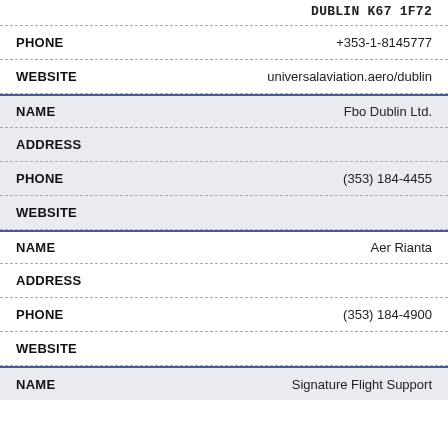DUBLIN K67 1F72
| Field | Value |
| --- | --- |
| PHONE | +353-1-8145777 |
| WEBSITE | universalaviation.aero/dublin |
| NAME | Fbo Dublin Ltd. |
| ADDRESS |  |
| PHONE | (353) 184-4455 |
| WEBSITE |  |
| NAME | Aer Rianta |
| ADDRESS |  |
| PHONE | (353) 184-4900 |
| WEBSITE |  |
| NAME | Signature Flight Support |